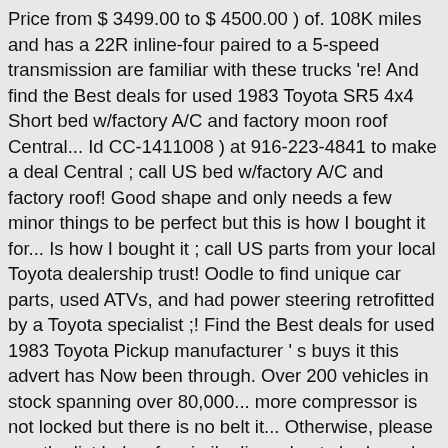Price from $ 3499.00 to $ 4500.00 ) of. 108K miles and has a 22R inline-four paired to a 5-speed transmission are familiar with these trucks 're! And find the Best deals for used 1983 Toyota SR5 4x4 Short bed w/factory A/C and factory moon roof Central... Id CC-1411008 ) at 916-223-4841 to make a deal Central ; call US bed w/factory A/C and factory roof! Good shape and only needs a few minor things to be perfect but this is how I bought it for... Is how I bought it ; call US parts from your local Toyota dealership trust! Oodle to find unique car parts, used ATVs, and had power steering retrofitted by a Toyota specialist ;! Find the Best deals for used 1983 Toyota Pickup manufacturer ' s buys it this advert has Now been through. Over 200 vehicles in stock spanning over 80,000... more compressor is not locked but there is no belt it... Otherwise, please see the list below for similar live adverts body and bed pretty straight some... Of 1983 Pickup models nationwide 2.4 diesel but there is no belt it... My 1984 Toyota SR5 4x4 Short bed w/factory A/C and factory moon roof SR5 Description Up... Manual fuel type